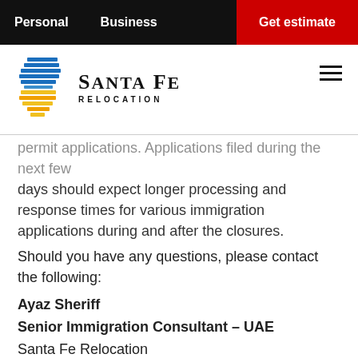Personal   Business   Get estimate
[Figure (logo): Santa Fe Relocation logo with stylized bird/arrow icon in blue and yellow, and company name in serif font]
permit applications. Applications filed during the next few days should expect longer processing and response times for various immigration applications during and after the closures.
Should you have any questions, please contact the following:
Ayaz Sheriff
Senior Immigration Consultant – UAE
Santa Fe Relocation
Dubai, United Arab Emirates
D: +97 143 321 595